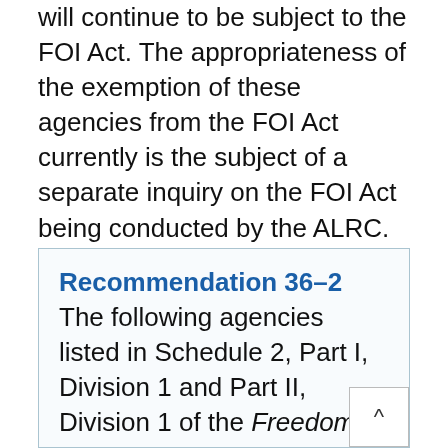will continue to be subject to the FOI Act. The appropriateness of the exemption of these agencies from the FOI Act currently is the subject of a separate inquiry on the FOI Act being conducted by the ALRC. The ALRC therefore makes no recommendations on this issue.
Recommendation 36-2 The following agencies listed in Schedule 2, Part I, Division 1 and Part II, Division 1 of the Freedom of Information Act 1982 (Cth) should be required to demonstrate to